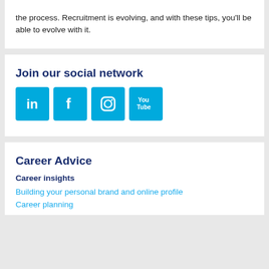the process. Recruitment is evolving, and with these tips, you'll be able to evolve with it.
Join our social network
[Figure (infographic): Four social media icons (LinkedIn, Facebook, Instagram, YouTube) displayed as cyan/blue square buttons]
Career Advice
Career insights
Building your personal brand and online profile
Career planning